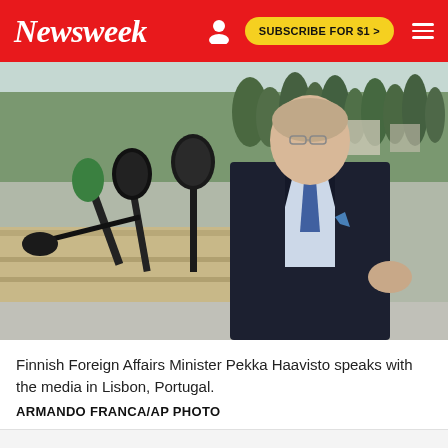Newsweek | SUBSCRIBE FOR $1 >
[Figure (photo): Finnish Foreign Affairs Minister Pekka Haavisto speaking with media, holding a gesture with his right hand, surrounded by microphones, outdoors with trees and stone architecture in the background in Lisbon, Portugal.]
Finnish Foreign Affairs Minister Pekka Haavisto speaks with the media in Lisbon, Portugal.
ARMANDO FRANCA/AP PHOTO